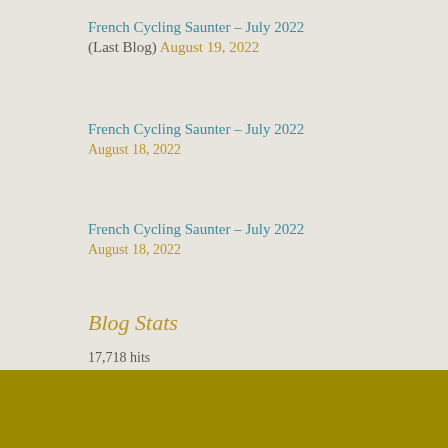French Cycling Saunter – July 2022 (Last Blog) August 19, 2022
French Cycling Saunter – July 2022 August 18, 2022
French Cycling Saunter – July 2022 August 18, 2022
Blog Stats
17,718 hits
Website Built with WordPress.com